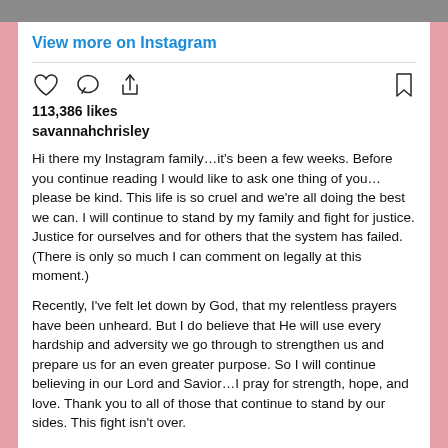View more on Instagram
113,386 likes
savannahchrisley
Hi there my Instagram family…it's been a few weeks. Before you continue reading I would like to ask one thing of you…please be kind. This life is so cruel and we're all doing the best we can. I will continue to stand by my family and fight for justice. Justice for ourselves and for others that the system has failed. (There is only so much I can comment on legally at this moment.)

Recently, I've felt let down by God, that my relentless prayers have been unheard. But I do believe that He will use every hardship and adversity we go through to strengthen us and prepare us for an even greater purpose. So I will continue believing in our Lord and Savior…I pray for strength, hope, and love. Thank you to all of those that continue to stand by our sides. This fight isn't over.